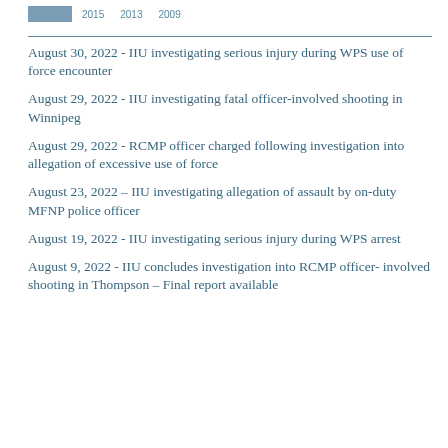2015   2013   2009
August 30, 2022 - IIU investigating serious injury during WPS use of force encounter
August 29, 2022 - IIU investigating fatal officer-involved shooting in Winnipeg
August 29, 2022 - RCMP officer charged following investigation into allegation of excessive use of force
August 23, 2022 – IIU investigating allegation of assault by on-duty MFNP police officer
August 19, 2022 - IIU investigating serious injury during WPS arrest
August 9, 2022 - IIU concludes investigation into RCMP officer- involved shooting in Thompson – Final report available